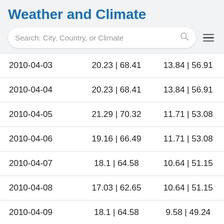Weather and Climate
| 2010-04-03 | 20.23 | 68.41 | 13.84 | 56.91 |
| 2010-04-04 | 20.23 | 68.41 | 13.84 | 56.91 |
| 2010-04-05 | 21.29 | 70.32 | 11.71 | 53.08 |
| 2010-04-06 | 19.16 | 66.49 | 11.71 | 53.08 |
| 2010-04-07 | 18.1 | 64.58 | 10.64 | 51.15 |
| 2010-04-08 | 17.03 | 62.65 | 10.64 | 51.15 |
| 2010-04-09 | 18.1 | 64.58 | 9.58 | 49.24 |